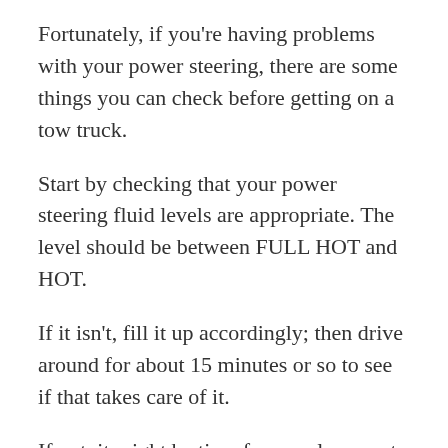Fortunately, if you're having problems with your power steering, there are some things you can check before getting on a tow truck.
Start by checking that your power steering fluid levels are appropriate. The level should be between FULL HOT and HOT.
If it isn't, fill it up accordingly; then drive around for about 15 minutes or so to see if that takes care of it.
If not, it might be time for a replacement.
Rubbing Noise When Turning Steering Wheel